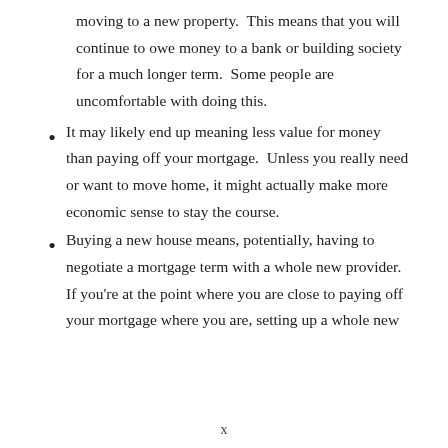moving to a new property.  This means that you will continue to owe money to a bank or building society for a much longer term.  Some people are uncomfortable with doing this.
It may likely end up meaning less value for money than paying off your mortgage.  Unless you really need or want to move home, it might actually make more economic sense to stay the course.
Buying a new house means, potentially, having to negotiate a mortgage term with a whole new provider.  If you're at the point where you are close to paying off your mortgage where you are, setting up a whole new
x